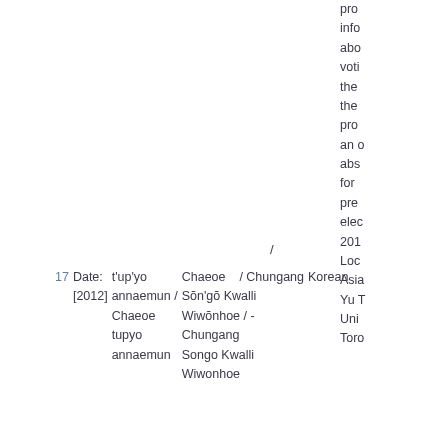| # | Creation Date | Title (romanized) | Title (original) | Language | Description (partial) |
| --- | --- | --- | --- | --- | --- |
| 17 | Date: [2012] | t'up'yo annaemun / Chaeoe tupyo annaemun | / Chaeoe Chŭngang Sŏn'gŏ Kwalli Wiwŏnhoe / - Chungang Songo Kwalli Wiwonhoe | Korean | pro
info
abo
voti
the
the
pro
an o
abs
for
pre
elec
201
Loc
Asia
Yu T
Uni
Toro |